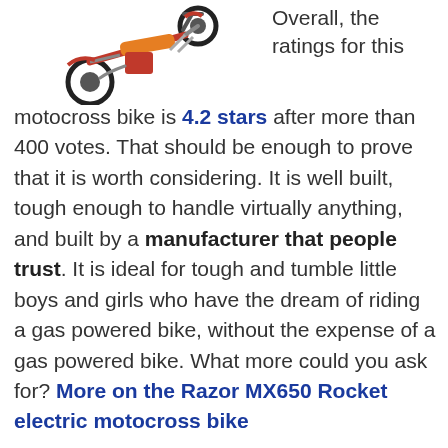[Figure (photo): A motocross dirt bike (Razor MX650 Rocket electric motocross bike) shown at an angle, with red/yellow/silver colors, appearing to pop a wheelie.]
Overall, the ratings for this motocross bike is 4.2 stars after more than 400 votes. That should be enough to prove that it is worth considering. It is well built, tough enough to handle virtually anything, and built by a manufacturer that people trust. It is ideal for tough and tumble little boys and girls who have the dream of riding a gas powered bike, without the expense of a gas powered bike. What more could you ask for? More on the Razor MX650 Rocket electric motocross bike